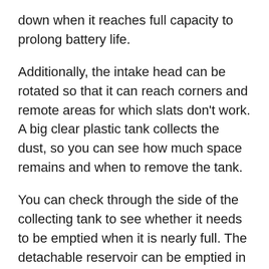down when it reaches full capacity to prolong battery life.
Additionally, the intake head can be rotated so that it can reach corners and remote areas for which slats don't work. A big clear plastic tank collects the dust, so you can see how much space remains and when to remove the tank.
You can check through the side of the collecting tank to see whether it needs to be emptied when it is nearly full. The detachable reservoir can be emptied in just a few seconds, and it reassembles with just two clasps.